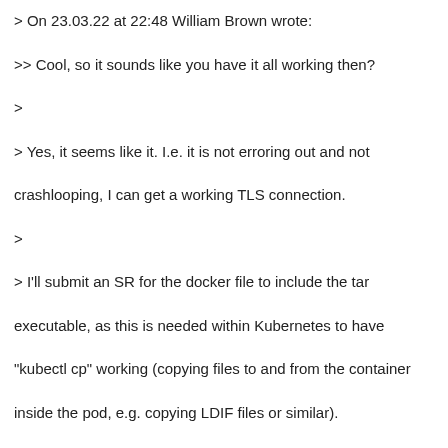> On 23.03.22 at 22:48 William Brown wrote:
>> Cool, so it sounds like you have it all working then?
>
> Yes, it seems like it. I.e. it is not erroring out and not crashlooping, I can get a working TLS connection.
>
> I'll submit an SR for the docker file to include the tar executable, as this is needed within Kubernetes to have "kubectl cp" working (copying files to and from the container inside the pod, e.g. copying LDIF files or similar).
>
> The next thing I wanna tackle is running without root permissions.
>
> And then I need to figure out how to actually get data into that server. I'll open up another thread for that.
>
> Kind Regards,
> Johannes
>
> --
> Johannes Kastl